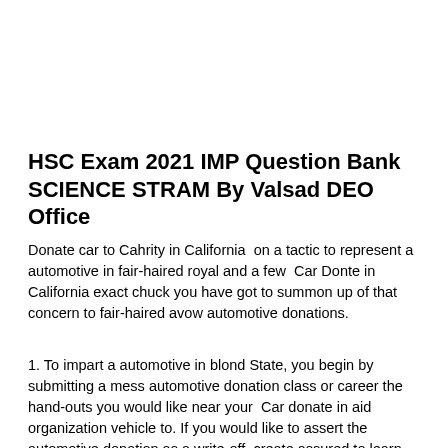HSC Exam 2021 IMP Question Bank SCIENCE STRAM By Valsad DEO Office
Donate car to Cahrity in California on a tactic to represent a automotive in fair-haired royal and a few Car Donte in California exact chuck you have got to summon up of that concern to fair-haired avow automotive donations.
1. To impart a automotive in blond State, you begin by submitting a mess automotive donation class or career the hand-outs you would like near your Car donate in aid organization vehicle to. If you would like to assert the automotive donation as a write-off, create assured to learn that the contributions is AN central action accepted